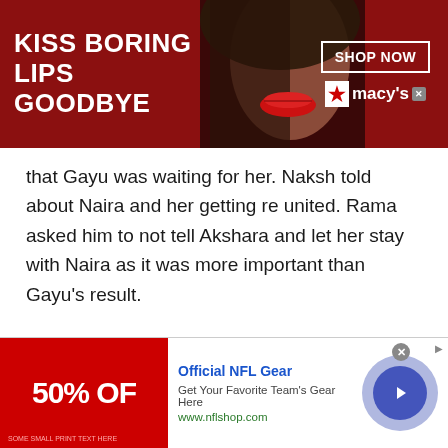[Figure (other): Top banner advertisement for Macy's lip products. Red background with text 'KISS BORING LIPS GOODBYE', a woman's face with red lips in center, 'SHOP NOW' button and Macy's logo on right.]
that Gayu was waiting for her. Naksh told about Naira and her getting re united. Rama asked him to not tell Akshara and let her stay with Naira as it was more important than Gayu's result.
Gayu was waiting for Akshara but Rama said that she needed to stay with Naira. Gayu agreed but cried.
Gayu wished Akshara to be with her. Akshara said to
[Figure (other): Bottom banner advertisement for Official NFL Gear. Red background with '50% OFF' text on left, NFL gear promotional text in center, and circular arrow button on right.]